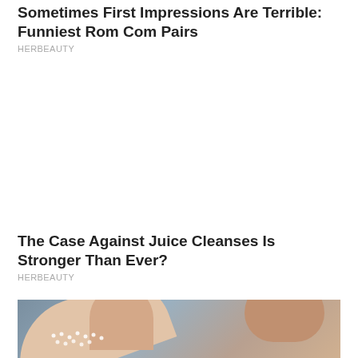Sometimes First Impressions Are Terrible: Funniest Rom Com Pairs
HERBEAUTY
The Case Against Juice Cleanses Is Stronger Than Ever?
HERBEAUTY
[Figure (photo): Close-up photo of a person's neck and lower face, with small white dots/beads on the skin, against a grey background]